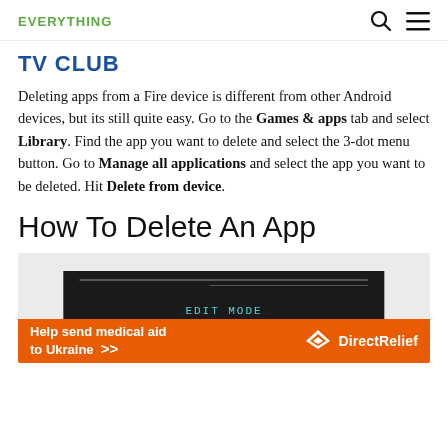EVERYTHING
TV CLUB
Deleting apps from a Fire device is different from other Android devices, but its still quite easy. Go to the Games & apps tab and select Library. Find the app you want to delete and select the 3-dot menu button. Go to Manage all applications and select the app you want to be deleted. Hit Delete from device.
How To Delete An App
[Figure (screenshot): Screenshot of a Fire device showing EDIT MODE text on dark background, with an orange DirectRelief advertisement banner at the bottom reading 'Help send medical aid to Ukraine >>']